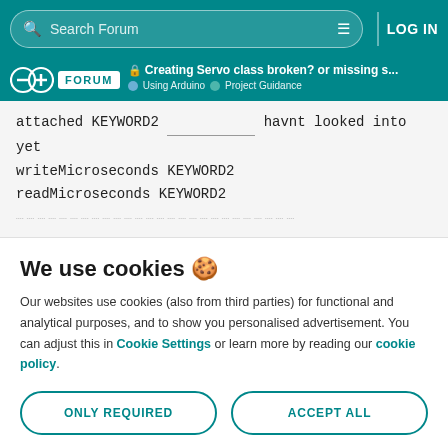Search Forum | LOG IN
FORUM | Creating Servo class broken? or missing s... | Using Arduino | Project Guidance
attached KEYWORD2 ___________ havnt looked into yet
writeMicroseconds KEYWORD2
readMicroseconds KEYWORD2
We use cookies 🍪
Our websites use cookies (also from third parties) for functional and analytical purposes, and to show you personalised advertisement. You can adjust this in Cookie Settings or learn more by reading our cookie policy.
ONLY REQUIRED
ACCEPT ALL